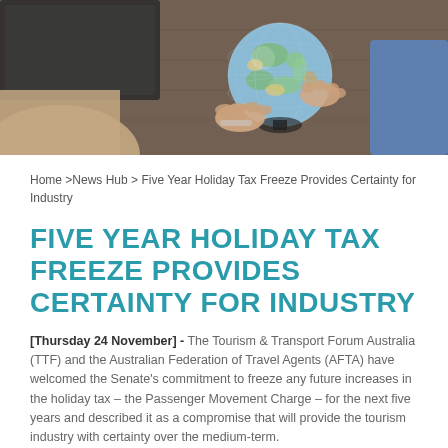[Figure (photo): Person's hands holding a colorful globe over a wooden desk, with a laptop visible in the background]
Home >News Hub > Five Year Holiday Tax Freeze Provides Certainty for Industry
FIVE YEAR HOLIDAY TAX FREEZE PROVIDES CERTAINTY FOR INDUSTRY
[Thursday 24 November] - The Tourism & Transport Forum Australia (TTF) and the Australian Federation of Travel Agents (AFTA) have welcomed the Senate's commitment to freeze any future increases in the holiday tax – the Passenger Movement Charge – for the next five years and described it as a compromise that will provide the tourism industry with certainty over the medium-term.